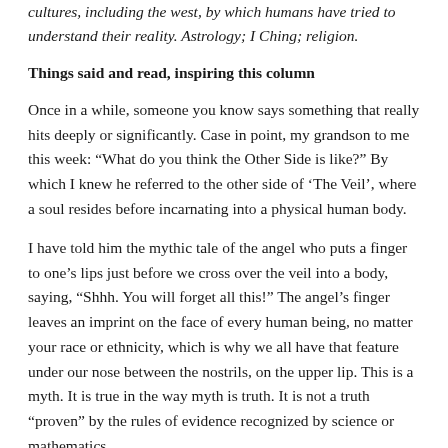cultures, including the west, by which humans have tried to understand their reality. Astrology; I Ching; religion.
Things said and read, inspiring this column
Once in a while, someone you know says something that really hits deeply or significantly. Case in point, my grandson to me this week: “What do you think the Other Side is like?” By which I knew he referred to the other side of ‘The Veil’, where a soul resides before incarnating into a physical human body.
I have told him the mythic tale of the angel who puts a finger to one’s lips just before we cross over the veil into a body, saying, “Shhh. You will forget all this!” The angel’s finger leaves an imprint on the face of every human being, no matter your race or ethnicity, which is why we all have that feature under our nose between the nostrils, on the upper lip. This is a myth. It is true in the way myth is truth. It is not a truth “proven” by the rules of evidence recognized by science or mathematics.
See the appendix for a link to a discussion of myth and truth